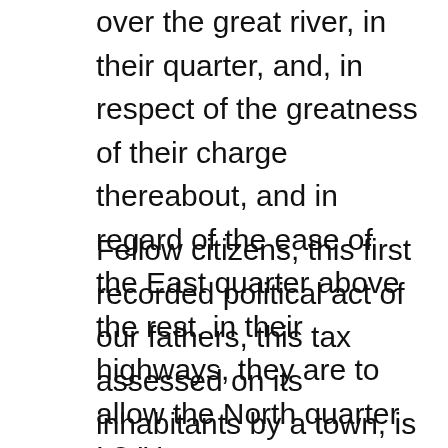over the great river, in their quarter, and, in respect of the greatness of their charge thereabout, and in regard of the ease of the East quarter above the rest, in their highways, they are to allow the North quarter L3." '
Fellow citizens, this first recorded political act of our fathers, this tax assessed on its inhabitants by a town, is the most important event in their civil history, implying, as it does, the exercise of a sovereign power, and connected with all the immunities and powers of a corporate town in Massachusetts. The greater speed and success that distinguish the planting of the human race in this country, over all other plantations in history, owe themselves mainly to the new subdivisions